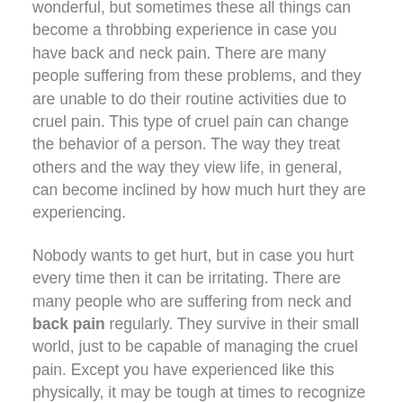wonderful, but sometimes these all things can become a throbbing experience in case you have back and neck pain. There are many people suffering from these problems, and they are unable to do their routine activities due to cruel pain. This type of cruel pain can change the behavior of a person. The way they treat others and the way they view life, in general, can become inclined by how much hurt they are experiencing.
Nobody wants to get hurt, but in case you hurt every time then it can be irritating. There are many people who are suffering from neck and back pain regularly. They survive in their small world, just to be capable of managing the cruel pain. Except you have experienced like this physically, it may be tough at times to recognize someone who feels this type of pain every day. They can easily turn into irritated. They can cut off themselves from family or